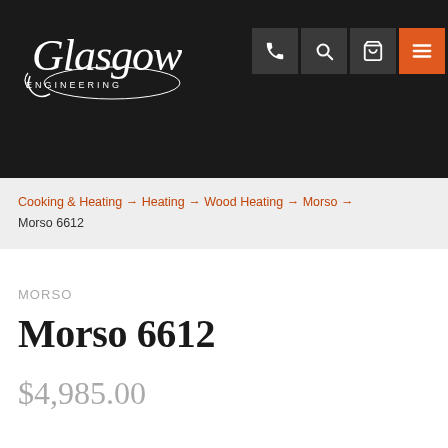[Figure (logo): Glasgow Engineering cursive logo in white on dark background]
Cooking & Heating → Heating → Wood Heating → Morso → Morso 6612
MORSO
Morso 6612
$4,985.00